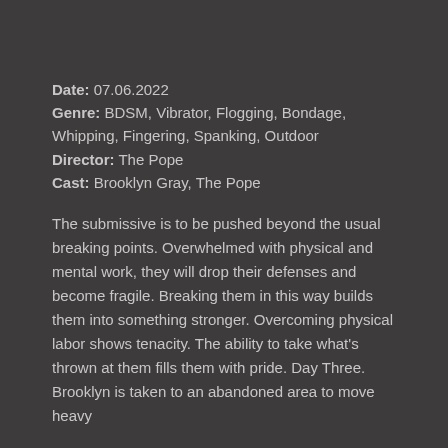Date: 07.06.2022
Genre: BDSM, Vibrator, Flogging, Bondage, Whipping, Fingering, Spanking, Outdoor
Director: The Pope
Cast: Brooklyn Gray, The Pope
The submissive is to be pushed beyond the usual breaking points. Overwhelmed with physical and mental work, they will drop their defenses and become fragile. Breaking them in this way builds them into something stronger. Overcoming physical labor shows tenacity. The ability to take what's thrown at them fills them with pride. Day Three. Brooklyn is taken to an abandoned area to move heavy